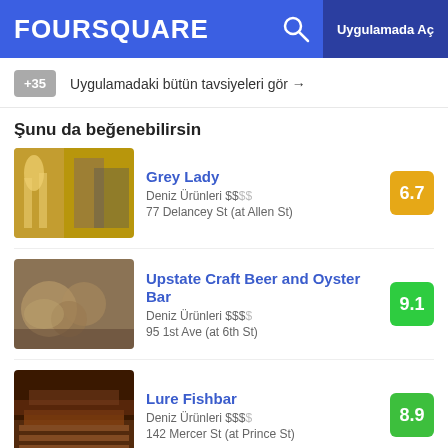FOURSQUARE — Uygulamada Aç
+35 Uygulamadaki bütün tavsiyeleri gör →
Şunu da beğenebilirsin
Grey Lady — Deniz Ürünleri $$$$ — 77 Delancey St (at Allen St) — Score: 6.7
Upstate Craft Beer and Oyster Bar — Deniz Ürünleri $$$$ — 95 1st Ave (at 6th St) — Score: 9.1
Lure Fishbar — Deniz Ürünleri $$$$ — 142 Mercer St (at Prince St) — Score: 8.9
İlgili Aramalar
bait & hook seafood shack new york • bait & hook seafood shack new york photos • bait & hook seafood shack new york location • bait & hook seafood